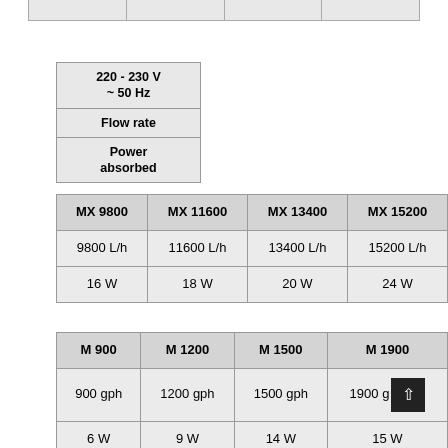|  |
|  |
| 220 - 230 V ~ 50 Hz |
| --- |
| Flow rate |
| Power absorbed |
| MX 9800 | MX 11600 | MX 13400 | MX 15200 |
| --- | --- | --- | --- |
| 9800 L/h | 11600 L/h | 13400 L/h | 15200 L/h |
| 16 W | 18 W | 20 W | 24 W |
| M 900 | M 1200 | M 1500 | M 1900 |
| --- | --- | --- | --- |
| 900 gph | 1200 gph | 1500 gph | 1900 gph |
| 6 W | 9 W | 14 W | 15 W |